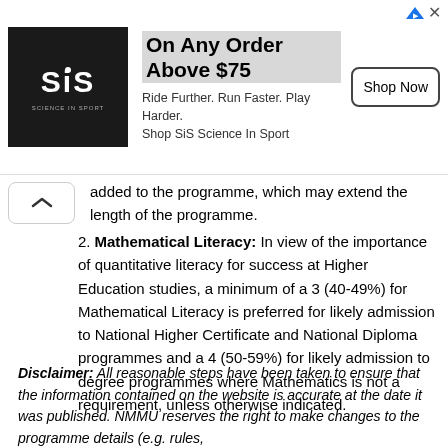[Figure (other): Advertisement banner for SiS Science In Sport. Logo on left (white text on black background). Headline: 'On Any Order Above $75'. Subtext: 'Ride Further. Run Faster. Play Harder. Shop SiS Science In Sport'. 'Shop Now' button on right.]
added to the programme, which may extend the length of the programme.
Mathematical Literacy: In view of the importance of quantitative literacy for success at Higher Education studies, a minimum of a 3 (40-49%) for Mathematical Literacy is preferred for likely admission to National Higher Certificate and National Diploma programmes and a 4 (50-59%) for likely admission to degree programmes where Mathematics is not a requirement, unless otherwise indicated.
Disclaimer: All reasonable steps have been taken to ensure that the information contained on the website is accurate at the date it was published. NMMU reserves the right to make changes to the programme details (e.g. rules,